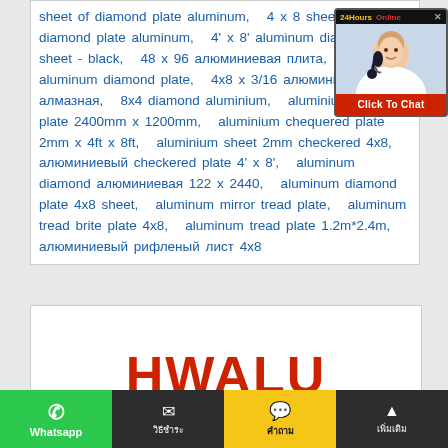sheet of diamond plate aluminum,   4 x 8 sheet of diamond plate aluminum,   4' x 8' aluminum diamond plate sheet - black,   48 x 96 алюминиевая плита,   4x8 aluminum diamond plate,   4x8 x 3/16 алюминиевая алмазная,   8x4 diamond aluminium,   aluminium checker plate 2400mm x 1200mm,   aluminium chequered plate 2mm x 4ft x 8ft,   aluminium sheet 2mm checkered 4x8,   алюминиевый checkered plate 4' x 8',   aluminum diamond алюминиевая 122 x 2440,   aluminum diamond plate 4x8 sheet,   aluminum mirror tread plate,   aluminum tread brite plate 4x8,   aluminum tread plate 1.2m*2.4m,   алюминиевый рифленый лист 4x8
[Figure (photo): Customer service representative with headset - 24Hours Online chat widget with Click To Chat button]
[Figure (logo): HWALU company logo in red bold text on white background]
Whatsapp   วิธีชำระ   คำถาม   เพิ่มเติม